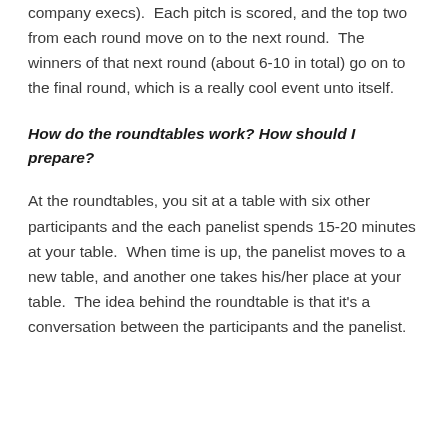company execs).  Each pitch is scored, and the top two from each round move on to the next round.  The winners of that next round (about 6-10 in total) go on to the final round, which is a really cool event unto itself.
How do the roundtables work? How should I prepare?
At the roundtables, you sit at a table with six other participants and the each panelist spends 15-20 minutes at your table.  When time is up, the panelist moves to a new table, and another one takes his/her place at your table.  The idea behind the roundtable is that it's a conversation between the participants and the panelist.